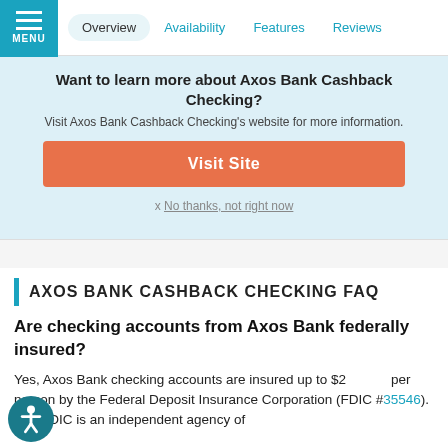MENU | Overview | Availability | Features | Reviews
Want to learn more about Axos Bank Cashback Checking?
Visit Axos Bank Cashback Checking's website for more information.
Visit Site
x No thanks, not right now
AXOS BANK CASHBACK CHECKING FAQ
Are checking accounts from Axos Bank federally insured?
Yes, Axos Bank checking accounts are insured up to $250,000 per person by the Federal Deposit Insurance Corporation (FDIC #35546). The FDIC is an independent agency of